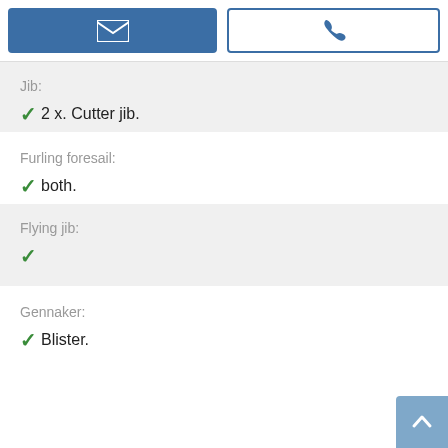[Figure (infographic): Top bar with two buttons: a filled blue email/envelope button and a white outlined phone button with blue icon]
Jib:
✓ 2 x. Cutter jib.
Furling foresail:
✓ both.
Flying jib:
✓
Gennaker:
✓ Blister.